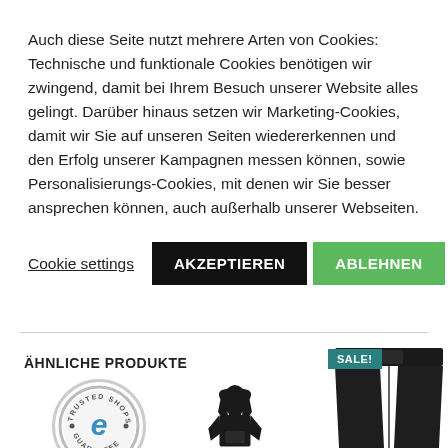Auch diese Seite nutzt mehrere Arten von Cookies: Technische und funktionale Cookies benötigen wir zwingend, damit bei Ihrem Besuch unserer Website alles gelingt. Darüber hinaus setzen wir Marketing-Cookies, damit wir Sie auf unseren Seiten wiedererkennen und den Erfolg unserer Kampagnen messen können, sowie Personalisierungs-Cookies, mit denen wir Sie besser ansprechen können, auch außerhalb unserer Webseiten.
Cookie settings | AKZEPTIEREN | ABLEHNEN
ÄHNLICHE PRODUKTE
[Figure (logo): Trusted Shops guarantee seal with 'e' logo, gold stars and score 5,00]
[Figure (photo): Black hoodie product image]
[Figure (photo): Black leather pants product image with SALE! badge]